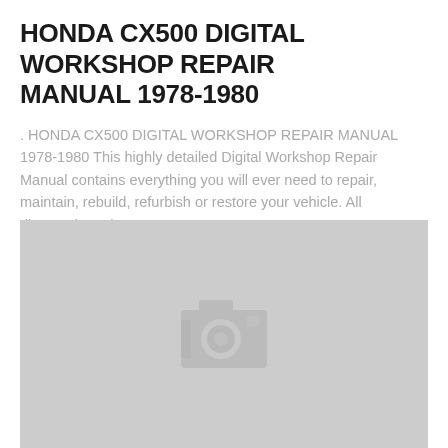HONDA CX500 DIGITAL WORKSHOP REPAIR MANUAL 1978-1980
. HONDA CX500 DIGITAL WORKSHOP REPAIR MANUAL 1978-1980 This highly detailed Digital Workshop Repair Manual contains everything you will ever need to repair, maintain, rebuild, refurbish or restore your vehicle. All diagnostic and...
[Figure (photo): Placeholder image with camera icon on grey background]